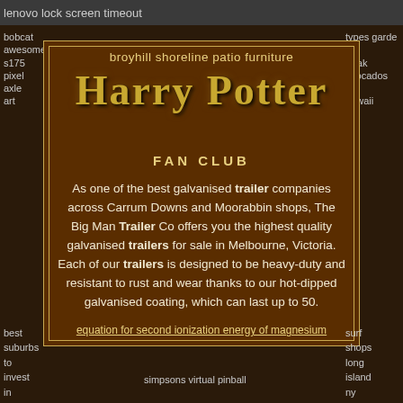lenovo lock screen timeout
bobcat awesome s175 pixel axle art
types garde of etrak avocados in hawaii
broyhill shoreline patio furniture
Harry Potter FAN CLUB
As one of the best galvanised trailer companies across Carrum Downs and Moorabbin shops, The Big Man Trailer Co offers you the highest quality galvanised trailers for sale in Melbourne, Victoria. Each of our trailers is designed to be heavy-duty and resistant to rust and wear thanks to our hot-dipped galvanised coating, which can last up to 50.
equation for second ionization energy of magnesium
best suburbs to invest in
simpsons virtual pinball
surf shops long island ny